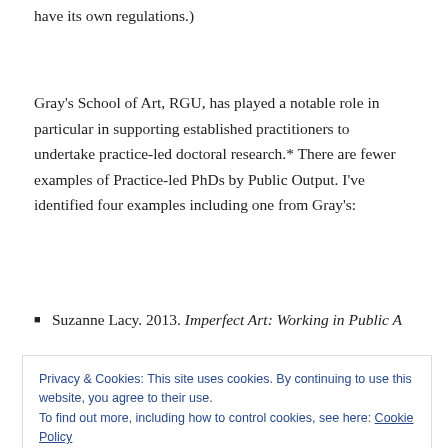have its own regulations.)
Gray's School of Art, RGU, has played a notable role in particular in supporting established practitioners to undertake practice-led doctoral research.* There are fewer examples of Practice-led PhDs by Public Output. I've identified four examples including one from Gray's:
Suzanne Lacy. 2013. Imperfect Art: Working in Public A
Privacy & Cookies: This site uses cookies. By continuing to use this website, you agree to their use.
To find out more, including how to control cookies, see here: Cookie Policy
Close and accept
Ross Sinclair. 2016. Ross Sinclair: 20 Years of Real